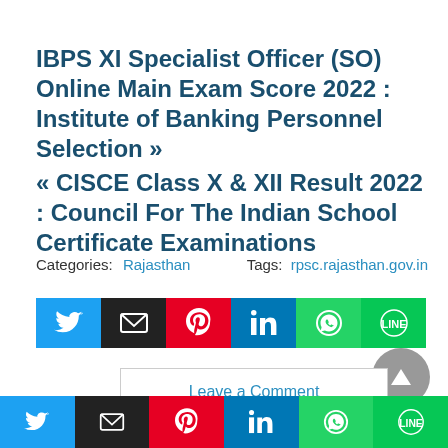IBPS XI Specialist Officer (SO) Online Main Exam Score 2022 : Institute of Banking Personnel Selection »
« CISCE Class X & XII Result 2022 : Council For The Indian School Certificate Examinations
Categories: Rajasthan     Tags: rpsc.rajasthan.gov.in
[Figure (other): Social share buttons row: Twitter, Email, Pinterest, LinkedIn, WhatsApp, LINE]
[Figure (other): Scroll to top circular button with upward arrow]
Leave a Comment
[Figure (other): Sticky footer social share buttons row: Twitter, Email, Pinterest, LinkedIn, WhatsApp, LINE]